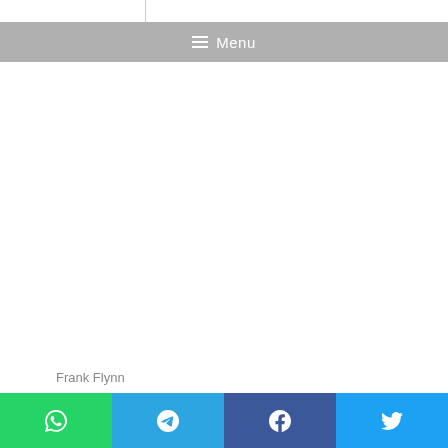Menu
Frank Flynn
The Cloud S... of the D...
[Figure (screenshot): Four social sharing buttons: WhatsApp (green), Telegram (blue), Facebook (dark blue), Twitter (light blue)]